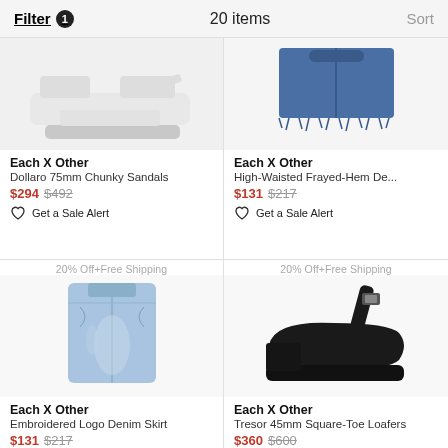Filter 1   20 items   Sort
[Figure (photo): White chunky platform sandals on white background]
Each X Other
Dollaro 75mm Chunky Sandals
$294 $492
Get a Sale Alert
[Figure (photo): High-waisted frayed-hem denim shorts on white background]
Each X Other
High-Waisted Frayed-Hem De...
$131 $217
Get a Sale Alert
20% Off+Free Shipping
[Figure (photo): Light blue denim mini skirt on white background]
Each X Other
Embroidered Logo Denim Skirt
$131 $217
20% Off+Free Shipping
[Figure (photo): Black square-toe slingback loafers on white background]
Each X Other
Tresor 45mm Square-Toe Loafers
$360 $600